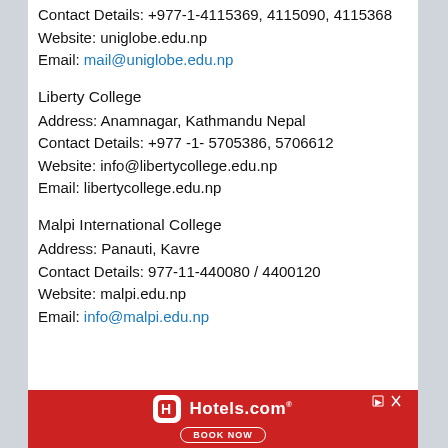Contact Details: +977-1-4115369, 4115090, 4115368
Website: uniglobe.edu.np
Email: mail@uniglobe.edu.np
Liberty College
Address: Anamnagar, Kathmandu Nepal
Contact Details: +977 -1- 5705386, 5706612
Website: info@libertycollege.edu.np
Email: libertycollege.edu.np
Malpi International College
Address: Panauti, Kavre
Contact Details: 977-11-440080 / 4400120
Website: malpi.edu.np
Email: info@malpi.edu.np
[Figure (infographic): Hotels.com advertisement banner with red background, Hotels.com logo icon, brand name, and BOOK NOW button]